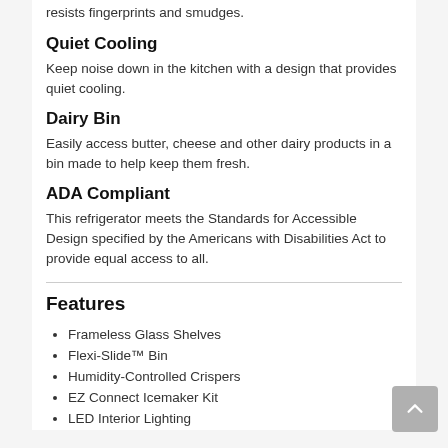resists fingerprints and smudges.
Quiet Cooling
Keep noise down in the kitchen with a design that provides quiet cooling.
Dairy Bin
Easily access butter, cheese and other dairy products in a bin made to help keep them fresh.
ADA Compliant
This refrigerator meets the Standards for Accessible Design specified by the Americans with Disabilities Act to provide equal access to all.
Features
Frameless Glass Shelves
Flexi-Slide™ Bin
Humidity-Controlled Crispers
EZ Connect Icemaker Kit
LED Interior Lighting